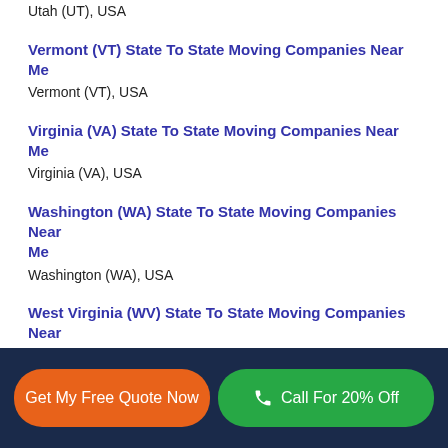Utah (UT), USA
Vermont (VT) State To State Moving Companies Near Me
Vermont (VT), USA
Virginia (VA) State To State Moving Companies Near Me
Virginia (VA), USA
Washington (WA) State To State Moving Companies Near Me
Washington (WA), USA
West Virginia (WV) State To State Moving Companies Near Me
West Virginia (WV), USA
Wisconsin (WI) State To State Moving Companies Near Me
Wisconsin (WI), USA
Get My Free Quote Now | Call For 20% Off